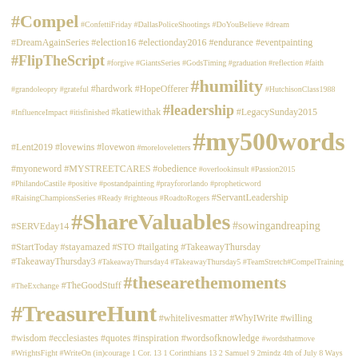[Figure (other): Tag cloud with hashtags and keywords in varying font sizes, displayed in a golden/tan color on white background. Larger text indicates more frequent tags. Includes hashtags like #Compel, #my500words, #ShareValuables, #TreasureHunt, and plain text keywords like Andy Andrews, andy stanley, Annie F. Downs, Ann Voskamp.]